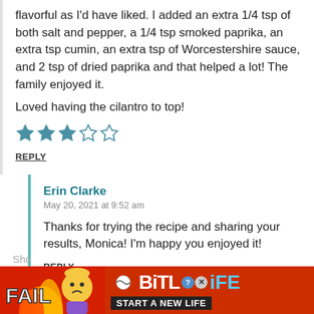flavorful as I'd have liked. I added an extra 1/4 tsp of both salt and pepper, a 1/4 tsp smoked paprika, an extra tsp cumin, an extra tsp of Worcestershire sauce, and 2 tsp of dried paprika and that helped a lot! The family enjoyed it. Loved having the cilantro to top!
[Figure (other): 3 out of 5 teal/blue stars rating]
REPLY
Erin Clarke
May 20, 2021 at 9:52 am
Thanks for trying the recipe and sharing your results, Monica! I'm happy you enjoyed it!
REPLY
[Figure (photo): BitLife advertisement banner - 'FAIL' text with cartoon character, fire, and 'START A NEW LIFE' tagline]